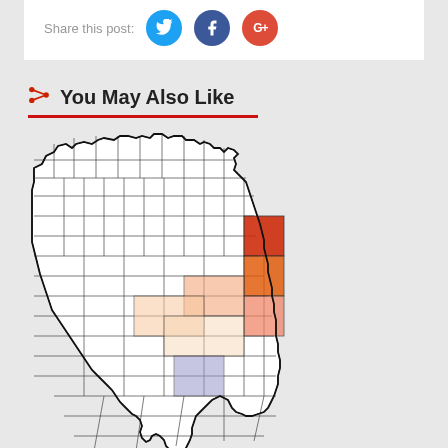Share this post:
You May Also Like
[Figure (map): Map of Florida counties with some east-central counties highlighted in red/orange shades (indicating higher values) and one county in light purple/blue, rest of state in white/light grey with black county borders.]